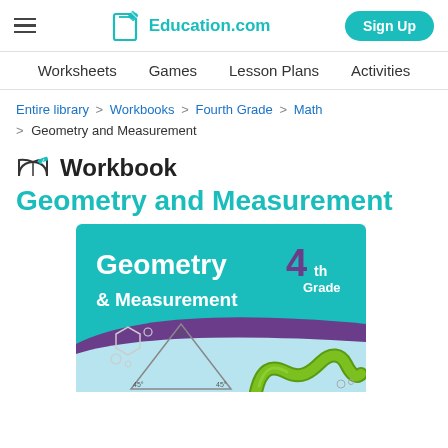Education.com | Sign Up
Worksheets | Games | Lesson Plans | Activities
Entire library > Workbooks > Fourth Grade > Math > Geometry and Measurement
Workbook
Geometry and Measurement
[Figure (illustration): Cover image of the Geometry and Measurement 4th Grade workbook featuring geometric shapes, a triangle with angle markers, a green snake/eel, and text 'Geometry & Measurement 4th Grade' on a teal background with purple swoosh.]